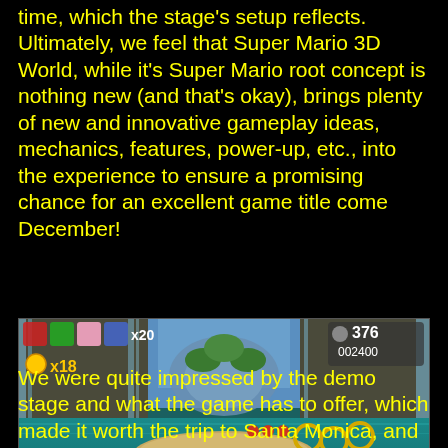time, which the stage's setup reflects. Ultimately, we feel that Super Mario 3D World, while it's Super Mario root concept is nothing new (and that's okay), brings plenty of new and innovative gameplay ideas, mechanics, features, power-up, etc., into the experience to ensure a promising chance for an excellent game title come December!
[Figure (screenshot): Screenshot of Super Mario 3D World gameplay showing characters riding on a surfboard through a water stage with waterfalls and gold rings. HUD shows character icons, coin count x18, lives x20, timer 376, and score 002400.]
We were quite impressed by the demo stage and what the game has to offer, which made it worth the trip to Santa Monica, and the wait in line. If you went the the event yourself, or have any questions or anything to say, we want